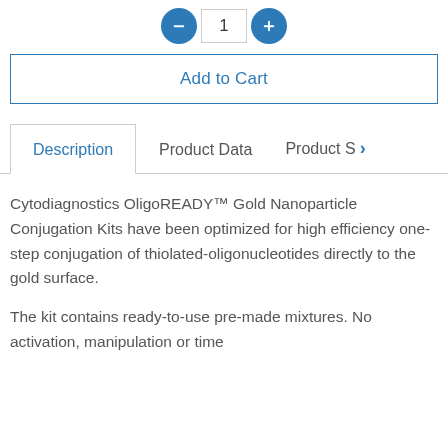[Figure (other): Quantity selector with minus and plus circular blue buttons and a text input box showing '1']
Add to Cart
Description | Product Data | Product >
Cytodiagnostics OligoREADY™ Gold Nanoparticle Conjugation Kits have been optimized for high efficiency one-step conjugation of thiolated-oligonucleotides directly to the gold surface.
The kit contains ready-to-use pre-made mixtures. No activation, manipulation or time